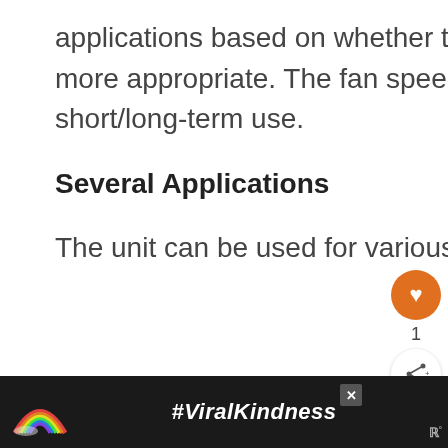applications based on whether the high/low temperature is more appropriate. The fan speed should be based on short/long-term use.
Several Applications
The unit can be used for various applications like:
Shrinking wrap
[Figure (screenshot): Advertisement banner at the bottom showing a rainbow illustration and the text #ViralKindness on a dark background, with a close button and a logo on the right.]